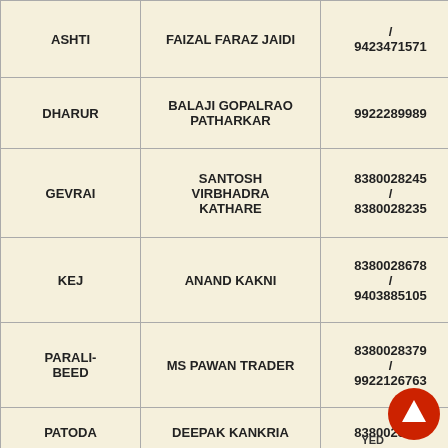| Location | Name | Phone | Other |
| --- | --- | --- | --- |
| ASHTI | FAIZAL FARAZ JAIDI | / 9423471571 | NALD |
| DHARUR | BALAJI GOPALRAO PATHARKAR | 9922289989 |  |
| GEVRAI | SANTOSH VIRBHADRA KATHARE | 8380028245 / 8380028235 | PARA |
| KEJ | ANAND KAKNI | 8380028678 / 9403885105 | PATH |
| PARALI-BEED | MS PAWAN TRADER | 8380028379 / 9922126763 | SARAM |
| PATODA | DEEPAK KANKRIA | 8380028148 | TULJA |
| MAJALGAON | VINODKUMAR HARIPRASAD LADHHA | 8380028364 | UMAI |
|  |  |  |  |